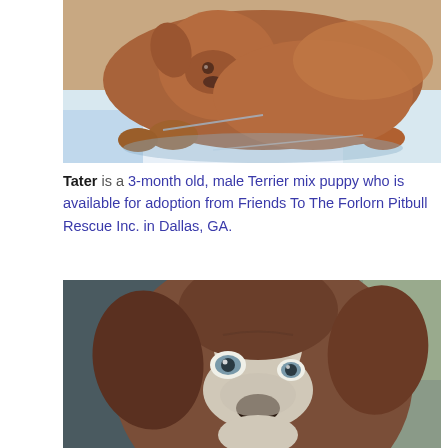[Figure (photo): A brown/tan puppy (Terrier mix) lying on blue and white puppy pads, facing the camera with a wrinkled forehead.]
Tater is a 3-month old, male Terrier mix puppy who is available for adoption from Friends To The Forlorn Pitbull Rescue Inc. in Dallas, GA.
[Figure (photo): Close-up face of a brown and white Pitbull mix puppy with blue-grey eyes, looking at the camera.]